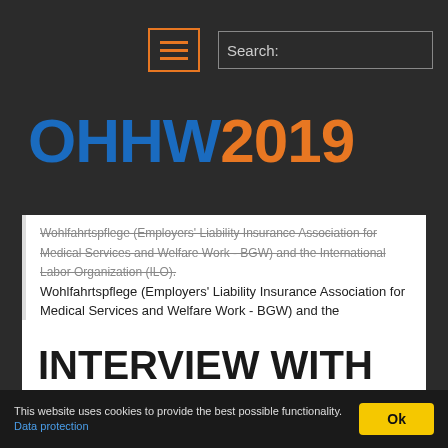OHHW2019 — navigation menu icon and search bar
OHHW2019
Wohlfahrtspflege (Employers' Liability Insurance Association for Medical Services and Welfare Work - BGW) and the International Labor Organization (ILO).
INTERVIEW WITH
This website uses cookies to provide the best possible functionality. Data protection  Ok